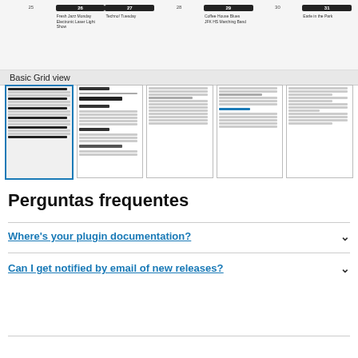[Figure (screenshot): Calendar grid strip showing days 25-31 with events including Fresh Jazz Monday, Techno! Tuesday, Electronic Laser Light Show, Coffee House Blues, JFK HS Marching Band, Earle in the Park]
Basic Grid view
[Figure (screenshot): Row of 5 document thumbnail previews showing different calendar/grid views, with the first thumbnail selected (highlighted blue border)]
Perguntas frequentes
Where's your plugin documentation?
Can I get notified by email of new releases?